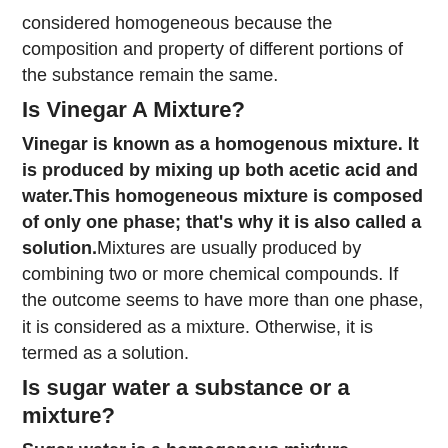considered homogeneous because the composition and property of different portions of the substance remain the same.
Is Vinegar A Mixture?
Vinegar is known as a homogenous mixture. It is produced by mixing up both acetic acid and water.This homogeneous mixture is composed of only one phase; that’s why it is also called a solution.Mixtures are usually produced by combining two or more chemical compounds. If the outcome seems to have more than one phase, it is considered as a mixture. Otherwise, it is termed as a solution.
Is sugar water a substance or a mixture?
Sugar-water is a homogenous mixture. Because Sugar dissolved into water, and you cannot see Sugar and water separately.On the other side, the